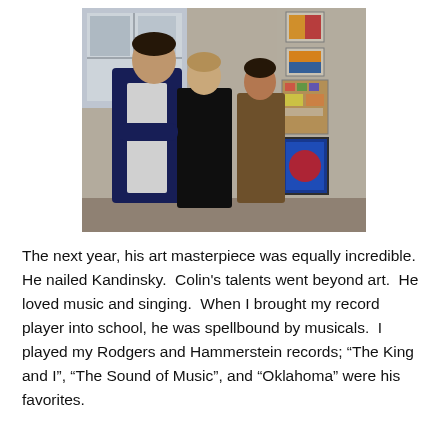[Figure (photo): Indoor photo of several people, including children and an adult, standing near a wall with framed artwork and posters. A window with natural light is visible in the background.]
The next year, his art masterpiece was equally incredible. He nailed Kandinsky.  Colin's talents went beyond art.  He loved music and singing.  When I brought my record player into school, he was spellbound by musicals.  I played my Rodgers and Hammerstein records; “The King and I”, “The Sound of Music”, and “Oklahoma” were his favorites.